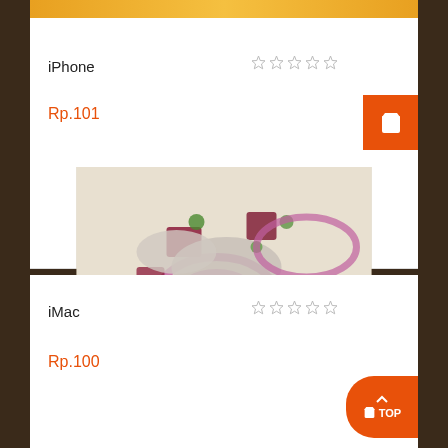[Figure (photo): Partial product image visible at top (yellow/orange colored item cropped)]
iPhone
[Figure (other): Five empty star rating icons]
Rp.101
[Figure (photo): Food photo showing herring salad with red onion rings, beets, potato cubes, and dill]
iMac
[Figure (other): Five empty star rating icons]
Rp.100